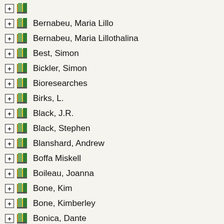Bernabeu, Maria Lillo
Bernabeu, Maria Lillothalina
Best, Simon
Bickler, Simon
Bioresearches
Birks, L.
Black, J.R.
Black, Stephen
Blanshard, Andrew
Boffa Miskell
Boileau, Joanna
Bone, Kim
Bone, Kimberley
Bonica, Dante
Boocock, Angela
Boraman, E.A.
Boubee, J.A.T.